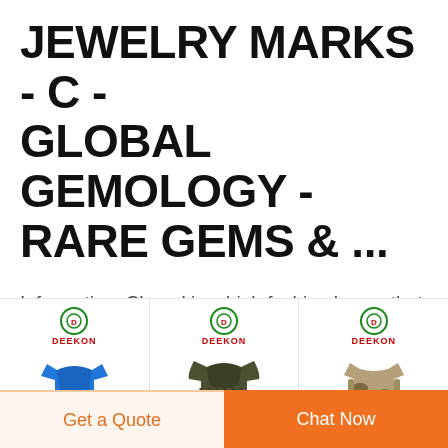JEWELRY MARKS - C - GLOBAL GEMOLOGY - RARE GEMS & ...
Information: Chanel is a high fashion house that was founded in 1909 by Coco Chanel, in Paris, France. Primarily produced costume jewelry, but began experimenting with fine jewelry starting in 1933. Primarily produced costume jewelry, but began experimenting with fine ...
[Figure (photo): Three product images side by side showing Deekon branded military/outdoor clothing: a blue shirt, an olive/dark green cable-knit sweater, and a camouflage tactical vest with a teal badge overlay]
Get a Quote
Chat Now